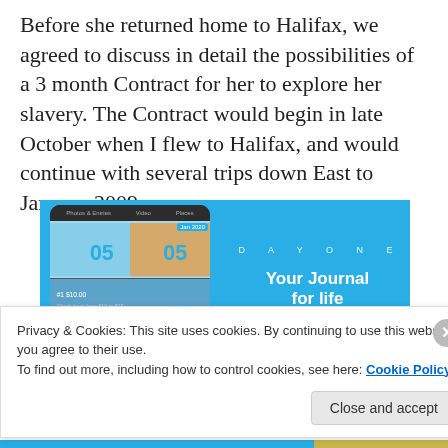Before she returned home to Halifax, we agreed to discuss in detail the possibilities of a 3 month Contract for her to explore her slavery. The Contract would begin in late October when I flew to Halifax, and would continue with several trips down East to January 2009.
[Figure (screenshot): Day One journal app advertisement showing a phone mockup with journal entries on a blue background on the left, and on the right a blue panel with 'D A Y O N E' logo, 'Your Journal for life' text, and a 'Get the app' button.]
Privacy & Cookies: This site uses cookies. By continuing to use this website, you agree to their use. To find out more, including how to control cookies, see here: Cookie Policy
Close and accept